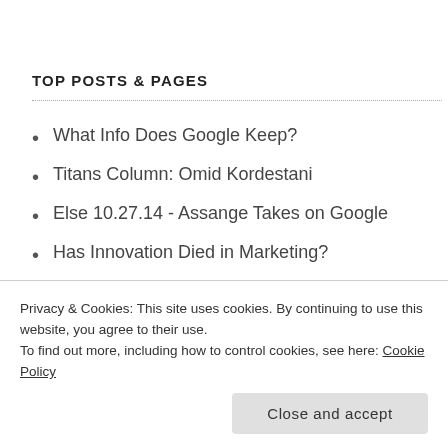TOP POSTS & PAGES
What Info Does Google Keep?
Titans Column: Omid Kordestani
Else 10.27.14 - Assange Takes on Google
Has Innovation Died in Marketing?
Predictions 2010
Right Message, Right Time: P&G's "Lead with"
Privacy & Cookies: This site uses cookies. By continuing to use this website, you agree to their use.
To find out more, including how to control cookies, see here: Cookie Policy
Close and accept